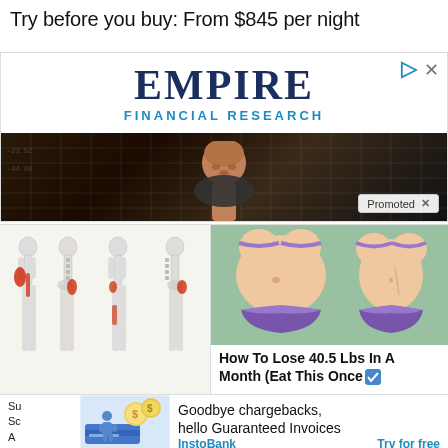Try before you buy: From $845 per night
[Figure (advertisement): Empire Financial Research advertisement banner with large bold 'EMPIRE' text in navy and 'FINANCIAL RESEARCH' in blue below. Features a photo of a bald man against a dark background with financial grid numbers. Has play icon and X close icon in top right, and a 'Promoted X' badge in bottom right.]
[Figure (illustration): Medical illustration showing body figures with red highlighted pain areas along the spine and legs across multiple human silhouettes]
[Figure (illustration): Cartoon illustration of a woman's torso in bikini showing weight loss before/after]
How To Lose 40.5 Lbs In A Month (Eat This Once
Su
Sc
A
Kr
[Figure (illustration): InstoBank advertisement illustration showing a person with dollar coins and a credit card]
Goodbye chargebacks, hello Guaranteed Invoices
InstoBank
Try for free